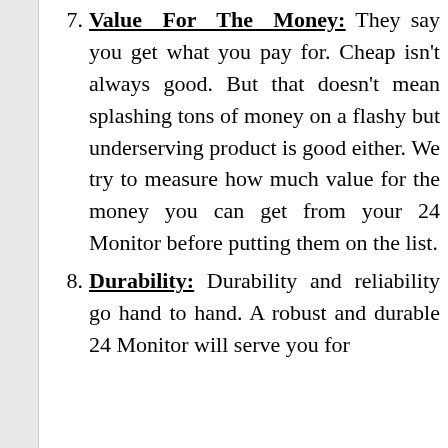7. Value For The Money: They say you get what you pay for. Cheap isn't always good. But that doesn't mean splashing tons of money on a flashy but underserving product is good either. We try to measure how much value for the money you can get from your 24 Monitor before putting them on the list.
8. Durability: Durability and reliability go hand to hand. A robust and durable 24 Monitor will serve you for